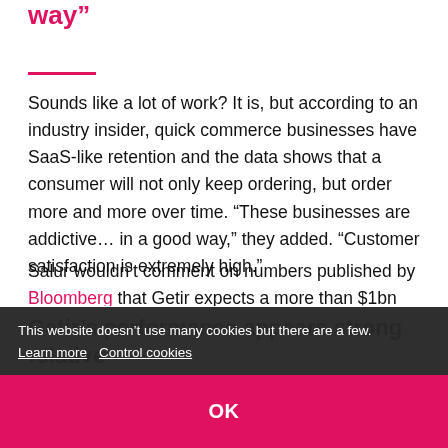way”
Sounds like a lot of work? It is, but according to an industry insider, quick commerce businesses have SaaS-like retention and the data shows that a consumer will not only keep ordering, but order more and more over time. “These businesses are addictive… in a good way,” they added. “Customer satisfaction is extremely high.”
Salur wouldn’t comment on numbers published by Bloomberg that Getir expects a more than $1bn loss for 2022 (which would be equivalent to the amount raised in the Series E and much of the Series D combined). As the [partially obscured] ...tability is likely a way off.
Getir’s performance appears strong relative